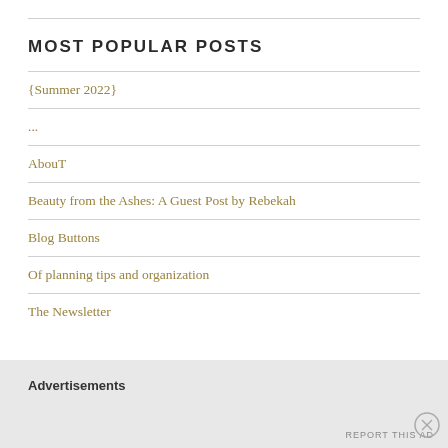MOST POPULAR POSTS
{Summer 2022}
...
AbouT
Beauty from the Ashes: A Guest Post by Rebekah
Blog Buttons
Of planning tips and organization
The Newsletter
Advertisements